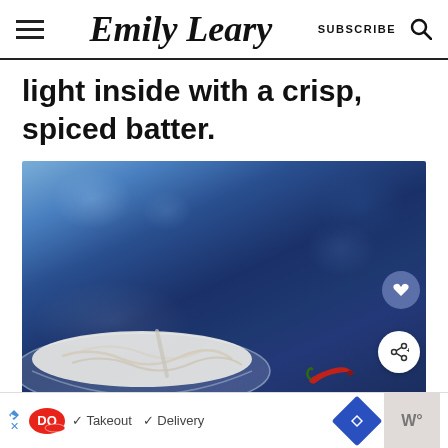Emily Leary | SUBSCRIBE
light inside with a crisp, spiced batter.
[Figure (photo): A glass bowl containing what appears to be a cream or batter mixture with a spoon, placed on a dark blue textured background with a red chili pepper visible in the lower right area.]
DQ Takeout Delivery advertisement